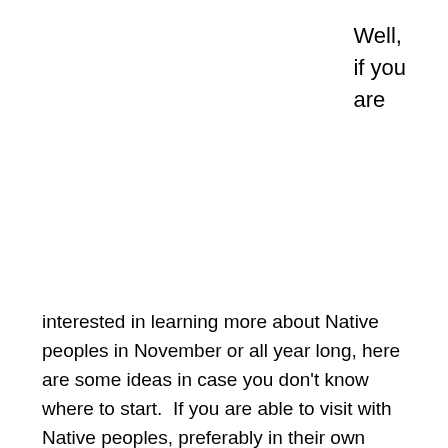Well,
if you
are
interested in learning more about Native peoples in November or all year long, here are some ideas in case you don't know where to start.  If you are able to visit with Native peoples, preferably in their own communities, that is the place to start.  If you cannot do that, then you can